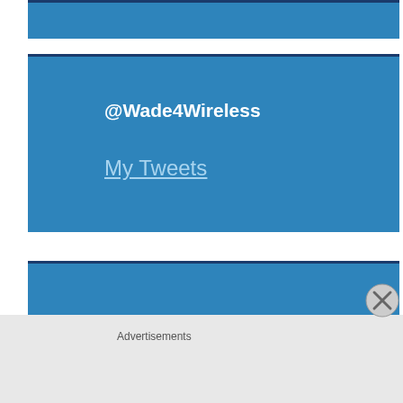[Figure (screenshot): Blue top bar widget area]
@Wade4Wireless
My Tweets
About Wade4Wireless
About Wade4Wireless.com
Advertisements